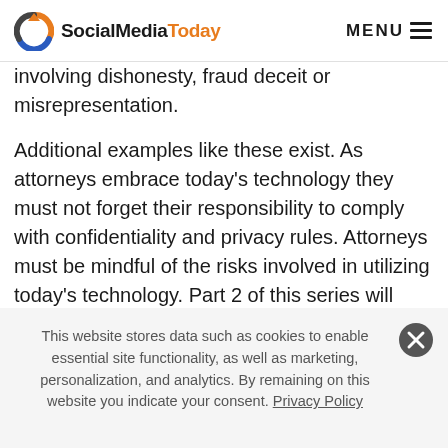SocialMediaToday | MENU
involving dishonesty, fraud deceit or misrepresentation.
Additional examples like these exist. As attorneys embrace today’s technology they must not forget their responsibility to comply with confidentiality and privacy rules. Attorneys must be mindful of the risks involved in utilizing today’s technology. Part 2 of this series will offer some suggestion for managing these risks while taking advantage of the new technology and its benefits.
This website stores data such as cookies to enable essential site functionality, as well as marketing, personalization, and analytics. By remaining on this website you indicate your consent. Privacy Policy